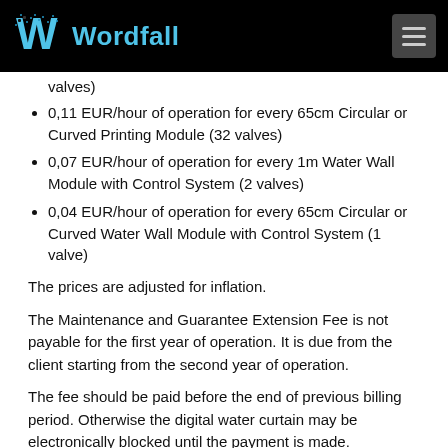Wordfall
valves)
0,11 EUR/hour of operation for every 65cm Circular or Curved Printing Module (32 valves)
0,07 EUR/hour of operation for every 1m Water Wall Module with Control System (2 valves)
0,04 EUR/hour of operation for every 65cm Circular or Curved Water Wall Module with Control System (1 valve)
The prices are adjusted for inflation.
The Maintenance and Guarantee Extension Fee is not payable for the first year of operation. It is due from the client starting from the second year of operation.
The fee should be paid before the end of previous billing period. Otherwise the digital water curtain may be electronically blocked until the payment is made.
A document with the guarantee terms and conditions is provided on demand.